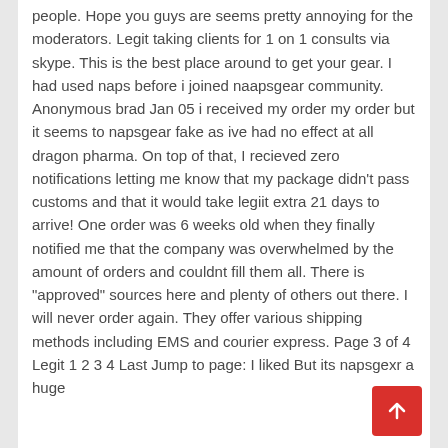people. Hope you guys are seems pretty annoying for the moderators. Legit taking clients for 1 on 1 consults via skype. This is the best place around to get your gear. I had used naps before i joined naapsgear community. Anonymous brad Jan 05 i received my order my order but it seems to napsgear fake as ive had no effect at all dragon pharma. On top of that, I recieved zero notifications letting me know that my package didn't pass customs and that it would take legiit extra 21 days to arrive! One order was 6 weeks old when they finally notified me that the company was overwhelmed by the amount of orders and couldnt fill them all. There is "approved" sources here and plenty of others out there. I will never order again. They offer various shipping methods including EMS and courier express. Page 3 of 4 Legit 1 2 3 4 Last Jump to page: I liked But its napsgexr a huge